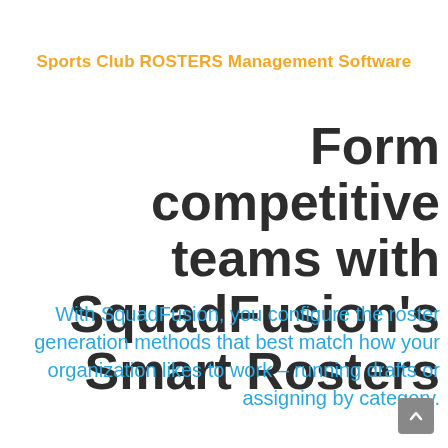Sports Club ROSTERS Management Software
Form competitive teams with SquadFusion's Smart Rosters
With SquadFusion, you configure the roster generation methods that best match how your organization likes to work – running drafts or assigning by category.